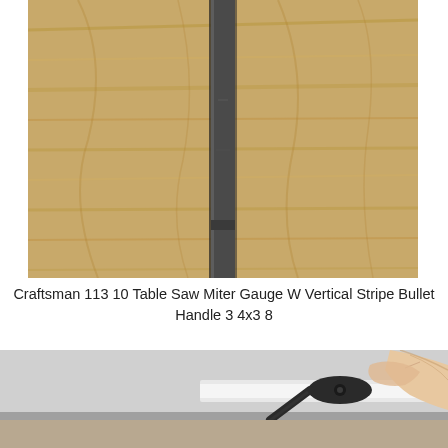[Figure (photo): A metal miter gauge bar or straight ruler placed vertically on a wooden surface, showing a narrow rectangular slot or bar against light wood grain background.]
Craftsman 113 10 Table Saw Miter Gauge W Vertical Stripe Bullet Handle 3 4x3 8
[Figure (photo): Close-up photo of a hand holding a small miter gauge stop or clamp mechanism, a dark-colored metal or plastic part with a screw, resting on a light-colored surface.]